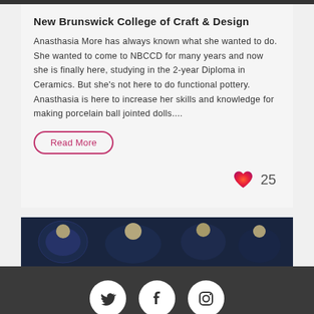New Brunswick College of Craft & Design
Anasthasia More has always known what she wanted to do. She wanted to come to NBCCD for many years and now she is finally here, studying in the 2-year Diploma in Ceramics. But she's not here to do functional pottery. Anasthasia is here to increase her skills and knowledge for making porcelain ball jointed dolls....
Read More
[Figure (illustration): Heart/like icon in gradient pink-orange-red with count of 25]
[Figure (photo): Dark blue and gold patterned ceramic or decorative objects photo, partially cropped]
Expand Footer
[Figure (other): Social media icons: Twitter bird, Facebook f, and Instagram camera in white circles on dark background]